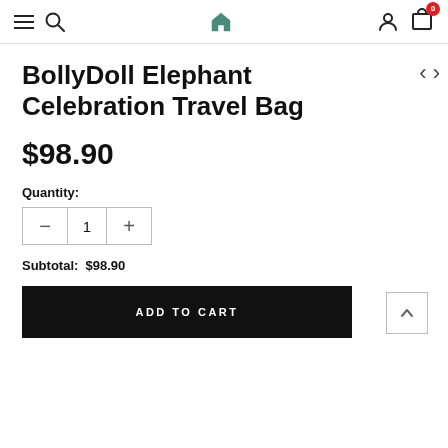Navigation bar with menu, search, home, user, and cart (0 items) icons
BollyDoll Elephant Celebration Travel Bag
$98.90
Quantity:
1
Subtotal:  $98.90
ADD TO CART